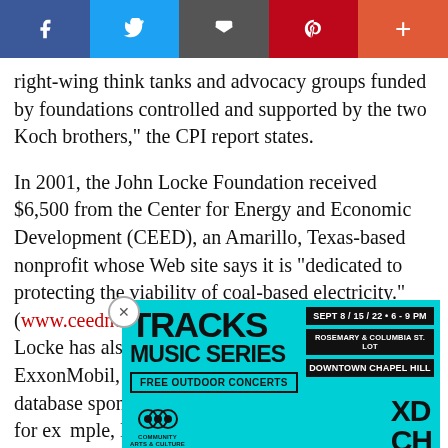[Figure (other): Social media share bar with Facebook, Twitter, Email, Pinterest, and More buttons]
right-wing think tanks and advocacy groups funded by foundations controlled and supported by the two Koch brothers," the CPI report states.
In 2001, the John Locke Foundation received $6,500 from the Center for Energy and Economic Development (CEED), an Amarillo, Texas-based nonprofit whose Web site says it is "dedicated to protecting the viability of coal-based electricity." (www.ceednet.org/ceed/index.cfm?cid=7504) Locke has also taken money from groups funded by ExxonMobil, according to www.exxonsecrets.org, a database sponsored by Greenpeace USA. In 2002, for example, Locke got $5,000 from The DCI Group of Pho... ...e Tech Centra... ExxonM... ...from the Atl... ...(RF) of
[Figure (infographic): Tracks Music Series advertisement overlay - cyan/turquoise background with event details: SEPT 8/15/22 • 6-9 PM, ROSEMARY & COLUMBIA ST. LOT, DOWNTOWN CHAPEL HILL, FREE OUTDOOR CONCERTS, Community Arts & Culture, XD CH logos]